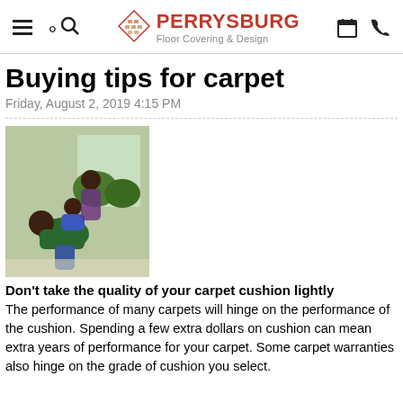Perrysburg Floor Covering & Design
Buying tips for carpet
Friday, August 2, 2019 4:15 PM
[Figure (photo): Family on carpet floor — father on all fours with child on his back and another person watching]
Don't take the quality of your carpet cushion lightly
The performance of many carpets will hinge on the performance of the cushion. Spending a few extra dollars on cushion can mean extra years of performance for your carpet. Some carpet warranties also hinge on the grade of cushion you select.